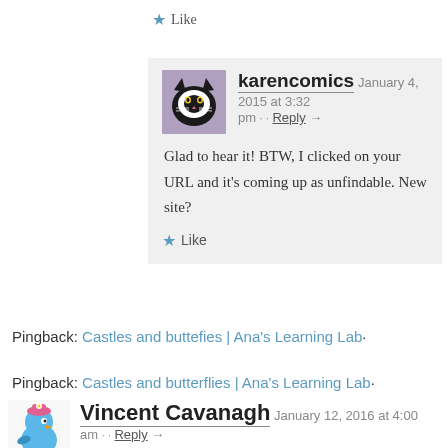★ Like
karencomics   January 4, 2015 at 3:32 pm · · Reply →
Glad to hear it! BTW, I clicked on your URL and it's coming up as unfindable. New site?
★ Like
Pingback: Castles and buttefies | Ana's Learning Lab·
Pingback: Castles and butterflies | Ana's Learning Lab·
Vincent Cavanagh   January 12, 2016 at 4:00 am · · Reply →
Thank you Karen for putting this article together. While I